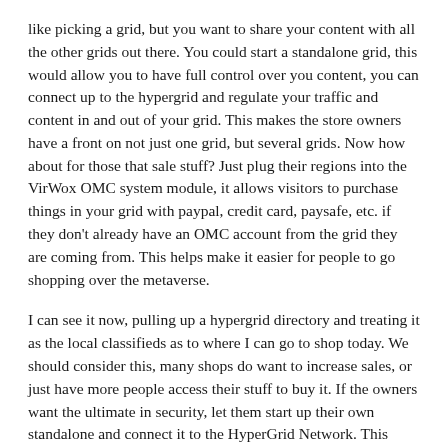like picking a grid, but you want to share your content with all the other grids out there. You could start a standalone grid, this would allow you to have full control over you content, you can connect up to the hypergrid and regulate your traffic and content in and out of your grid. This makes the store owners have a front on not just one grid, but several grids. Now how about for those that sale stuff? Just plug their regions into the VirWox OMC system module, it allows visitors to purchase things in your grid with paypal, credit card, paysafe, etc. if they don't already have an OMC account from the grid they are coming from. This helps make it easier for people to go shopping over the metaverse.
I can see it now, pulling up a hypergrid directory and treating it as the local classifieds as to where I can go to shop today. We should consider this, many shops do want to increase sales, or just have more people access their stuff to buy it. If the owners want the ultimate in security, let them start up their own standalone and connect it to the HyperGrid Network. This allows them to increase sales and make a bigger name and presence for themselves without the cost and trouble of uploading their content to several grids and paying to pick which grid is best for them, but rather...